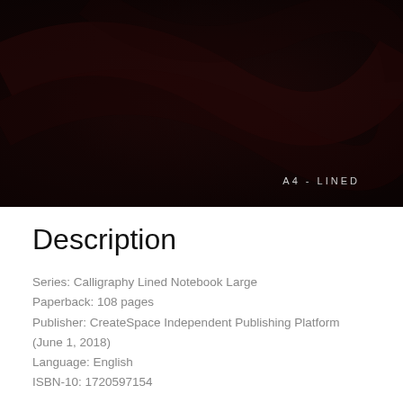[Figure (photo): Dark book cover with a deep maroon/black textured background. Text in bottom right reads 'A4 - LINED' in light gray, spaced lettering.]
Description
Series: Calligraphy Lined Notebook Large
Paperback: 108 pages
Publisher: CreateSpace Independent Publishing Platform (June 1, 2018)
Language: English
ISBN-10: 1720597154